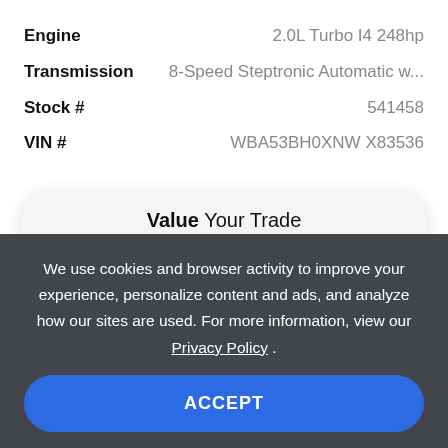| Spec | Value |
| --- | --- |
| Engine | 2.0L Turbo I4 248hp |
| Transmission | 8-Speed Steptronic Automatic w... |
| Stock # | 541458 |
| VIN # | WBA53BH0XNW X83536 |
Value Your Trade
We use cookies and browser activity to improve your experience, personalize content and ads, and analyze how our sites are used. For more information, view our Privacy Policy .
ACCEPT